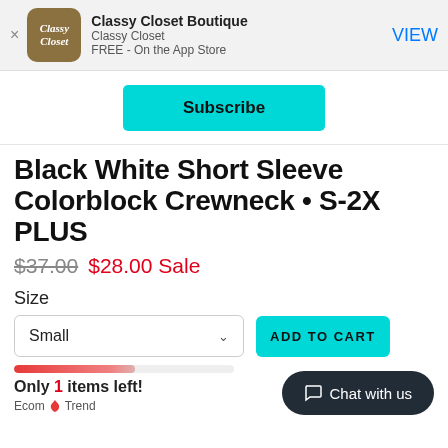[Figure (logo): Classy Closet app icon — a rustic wooden background with cursive white text reading 'Classy Closet']
Classy Closet Boutique
Classy Closet
FREE - On the App Store
VIEW
Subscribe
Black White Short Sleeve Colorblock Crewneck • S-2X PLUS
$37.00  $28.00 Sale
Size
Small
ADD TO CART
Only 1 items left!
Ecom Trend
Chat with us